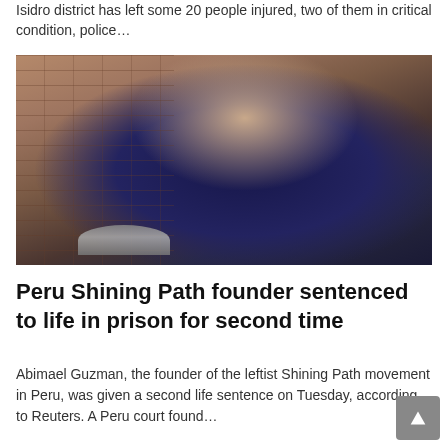Isidro district has left some 20 people injured, two of them in critical condition, police…
[Figure (photo): Photograph of Abimael Guzman, a man with dark hair, mustache, and sunglasses, wearing a dark blue jacket, seated in front of a brick wall, with a microphone visible at the bottom.]
Peru Shining Path founder sentenced to life in prison for second time
Abimael Guzman, the founder of the leftist Shining Path movement in Peru, was given a second life sentence on Tuesday, according to Reuters. A Peru court found…